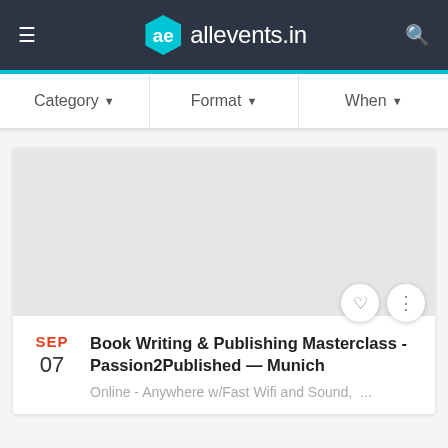allevents.in
Category ▾   Format ▾   When ▾
[Figure (screenshot): Gray placeholder image for event listing]
SEP 07
Book Writing & Publishing Masterclass - Passion2Published — Munich
Online - Anywhere w/Fast Wifi and Sound,  ...